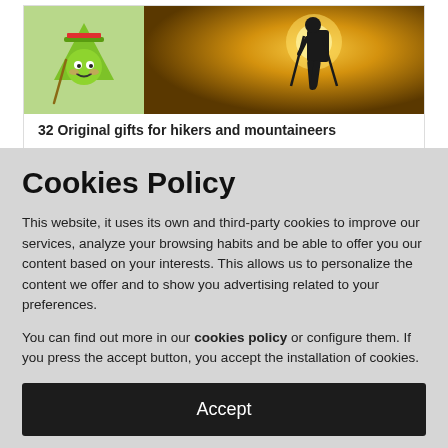[Figure (illustration): Card showing a green cartoon hiking mascot character on the left and a silhouette of a hiker with trekking poles against a golden sky on the right]
32 Original gifts for hikers and mountaineers
Cookies Policy
This website, it uses its own and third-party cookies to improve our services, analyze your browsing habits and be able to offer you our content based on your interests. This allows us to personalize the content we offer and to show you advertising related to your preferences.
You can find out more in our cookies policy or configure them. If you press the accept button, you accept the installation of cookies.
Accept
Setting cookies...